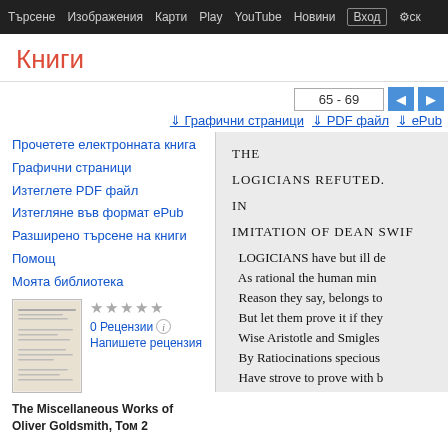Търсене  Изображения  Карти  Play  YouTube  Новини  Вход  ск
Книги
65 - 69
Графични страници   PDF файл   ePub
Прочетете електронната книга
Графични страници
Изтеглете PDF файл
Изтегляне във формат ePub
Разширено търсене на книги
Помощ
Моята библиотека
★★★★★
0 Рецензии ⓘ
Напишете рецензия
The Miscellaneous Works of Oliver Goldsmith, Том 2
THE

LOGICIANS REFUTED.

IN

IMITATION OF DEAN SWIF

LOGICIANS have but ill de
As rational the human min
Reason they say, belongs to
But let them prove it if they
Wise Aristotle and Smigles
By Ratiocinations specious
Have strove to prove with b